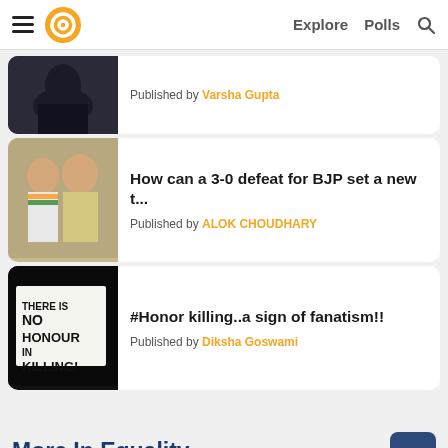Navigation bar with hamburger menu, logo, Explore, Polls, Search
[Figure (screenshot): Partial article card: dark image, Published by Varsha Gupta]
Published by Varsha Gupta
[Figure (photo): Two politicians seated together, one wearing saffron scarf]
How can a 3-0 defeat for BJP set a new t...
Published by ALOK CHOUDHARY
[Figure (photo): Protest sign reading THERE IS NO HONOUR IN KILLING!]
#Honor killing..a sign of fanatism!!
Published by Diksha Goswami
More In Equality